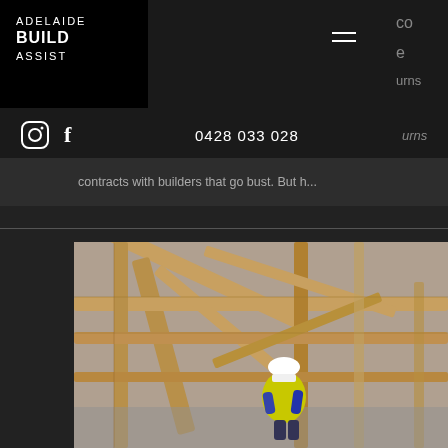[Figure (logo): Adelaide Build Assist logo - white text on black background, showing ADELAIDE in light weight, BUILD in bold, ASSIST in light weight]
[Figure (screenshot): Navigation bar with hamburger menu icon and partial text cut off on right side showing letters 'co', 'e', 'urns']
0428 033 028
contracts with builders that go bust. But h...
[Figure (photo): Aerial view of a building under construction showing wooden roof framing/trusses with a worker in a yellow hi-vis vest and white hard hat visible below the timber framework]